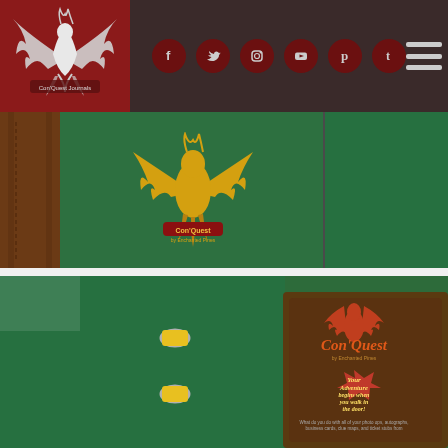Con'Quest Journals website header with logo and social media icons (Facebook, Twitter, Instagram, YouTube, Pinterest, Tumblr) and navigation menu
[Figure (photo): Green binder/journal closed view showing spine and front cover with gold Con'Quest phoenix logo printed on green fabric cover]
[Figure (photo): Green Con'Quest journal open showing ring binders on inside, with a Con'Quest promotional flyer/booklet visible on the right featuring the text 'Your Adventure begins when you walk in the door!']